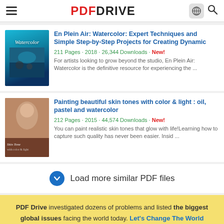PDF DRIVE
En Plein Air: Watercolor: Expert Techniques and Simple Step-by-Step Projects for Creating Dynamic
211 Pages · 2018 · 26,344 Downloads · New!
For artists looking to grow beyond the studio, En Plein Air: Watercolor is the definitive resource for experiencing the ...
Painting beautiful skin tones with color & light : oil, pastel and watercolor
212 Pages · 2015 · 44,574 Downloads · New!
You can paint realistic skin tones that glow with life!Learning how to capture such quality has never been easier. Insid ...
Load more similar PDF files
PDF Drive investigated dozens of problems and listed the biggest global issues facing the world today. Let's Change The World Together
Pdfdrive:hope Give books away. Get books you want.